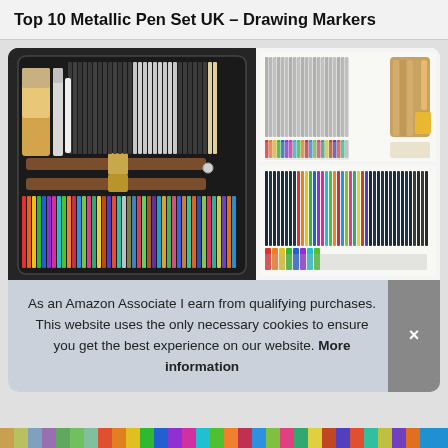Top 10 Metallic Pen Set UK – Drawing Markers
[Figure (photo): Open pencil/drawing set case showing graphite pencils, brushes, and colorful colored pencils in a zippered black case with brown elastic straps]
[Figure (photo): Pencil set fanned out showing metallic and colored pencils with tan holder, top right]
[Figure (photo): Colored and graphite pencil set fanned out, bottom right]
As an Amazon Associate I earn from qualifying purchases. This website uses the only necessary cookies to ensure you get the best experience on our website. More information